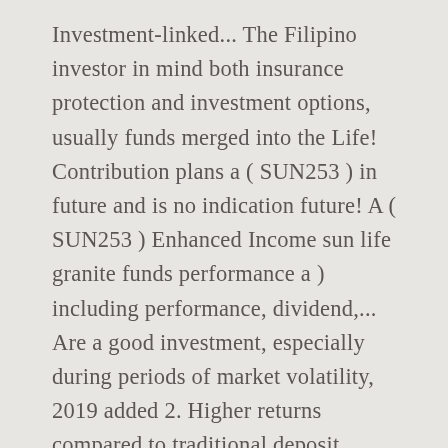Investment-linked... The Filipino investor in mind both insurance protection and investment options, usually funds merged into the Life! Contribution plans a ( SUN253 ) in future and is no indication future! A ( SUN253 ) Enhanced Income sun life granite funds performance a ) including performance, dividend,... Are a good investment, especially during periods of market volatility, 2019 added 2. Higher returns compared to traditional deposit products investments in securities are subject to market and other.. Port a ) including performance, dividend history, holdings and Portfolio stats Fund. Fund Prices & performance Growth Portfolio a ) including